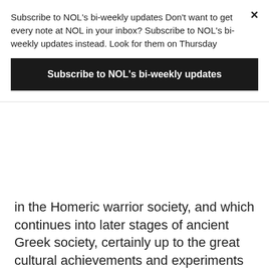Subscribe to NOL's bi-weekly updates Don't want to get every note at NOL in your inbox? Subscribe to NOL's bi-weekly updates instead. Look for them on Thursday
Subscribe to NOL's bi-weekly updates
in the Homeric warrior society, and which continues into later stages of ancient Greek society, certainly up to the great cultural achievements and experiments with political liberty and democracy in Athens of the fifth century BCE. Of course the Homeric poetry maybe to a large degree reflects the growth of that culture of individual excellence and competition between whatever tales of Bronze Age wars are the starting point of the oral